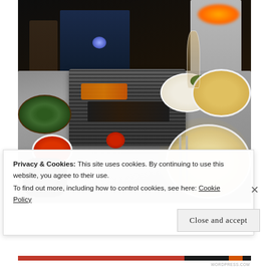[Figure (photo): Nighttime restaurant dining scene showing a table with a tabletop grill loaded with meat and corn, surrounded by various dishes including a green salad bowl, red sauce, grilled seafood on a plate, pizza/flatbreads, and a wine glass. A patio heater with flame is visible in the background.]
Privacy & Cookies: This site uses cookies. By continuing to use this website, you agree to their use.
To find out more, including how to control cookies, see here: Cookie Policy
Close and accept